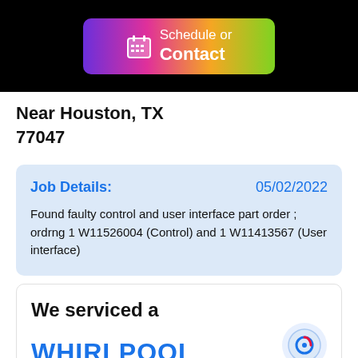[Figure (screenshot): Schedule or Contact button with calendar icon, gradient background from purple to green, on black bar]
Near Houston, TX 77047
Job Details:
05/02/2022
Found faulty control and user interface part order ; ordrng 1 W11526004 (Control) and 1 W11413567 (User interface)
We serviced a
WHIRLPOOL